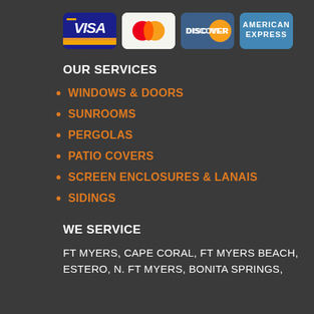[Figure (logo): Payment card logos: Visa, Mastercard, Discover, American Express]
OUR SERVICES
WINDOWS & DOORS
SUNROOMS
PERGOLAS
PATIO COVERS
SCREEN ENCLOSURES & LANAIS
SIDINGS
WE SERVICE
FT MYERS, CAPE CORAL, FT MYERS BEACH, ESTERO, N. FT MYERS, BONITA SPRINGS,